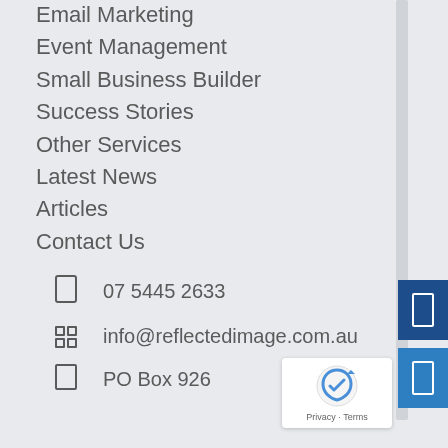Email Marketing
Event Management
Small Business Builder
Success Stories
Other Services
Latest News
Articles
Contact Us
07 5445 2633
info@reflectedimage.com.au
PO Box 926